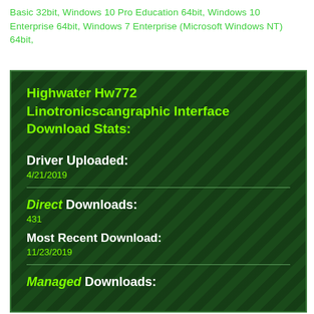Basic 32bit, Windows 10 Pro Education 64bit, Windows 10 Enterprise 64bit, Windows 7 Enterprise (Microsoft Windows NT) 64bit,
Highwater Hw772 Linotronicscangraphic Interface Download Stats:
Driver Uploaded: 4/21/2019
Direct Downloads: 431
Most Recent Download: 11/23/2019
Managed Downloads: